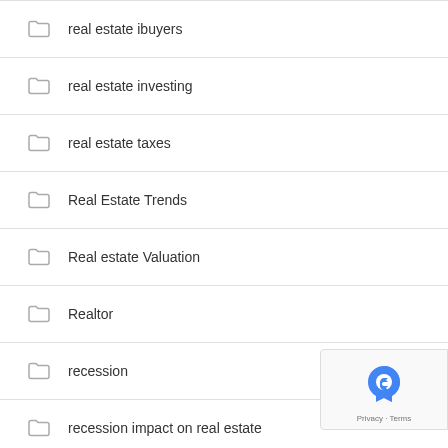real estate ibuyers
real estate investing
real estate taxes
Real Estate Trends
Real estate Valuation
Realtor
recession
recession impact on real estate
Residential hard money
residential lending valuation
Small Balance Commercial Lending